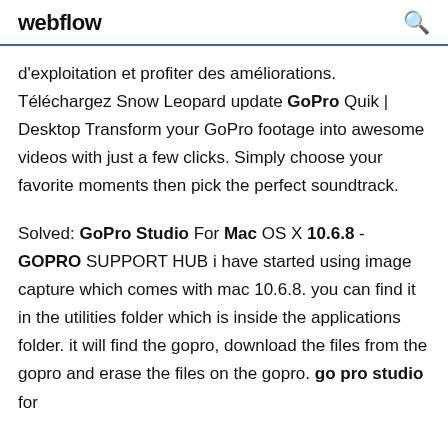webflow
d'exploitation et profiter des améliorations. Téléchargez Snow Leopard update GoPro Quik | Desktop Transform your GoPro footage into awesome videos with just a few clicks. Simply choose your favorite moments then pick the perfect soundtrack.
Solved: GoPro Studio For Mac OS X 10.6.8 - GOPRO SUPPORT HUB i have started using image capture which comes with mac 10.6.8. you can find it in the utilities folder which is inside the applications folder. it will find the gopro, download the files from the gopro and erase the files on the gopro. go pro studio for mac 10.6.8. GOPRO SUPPORT HUB Hi...